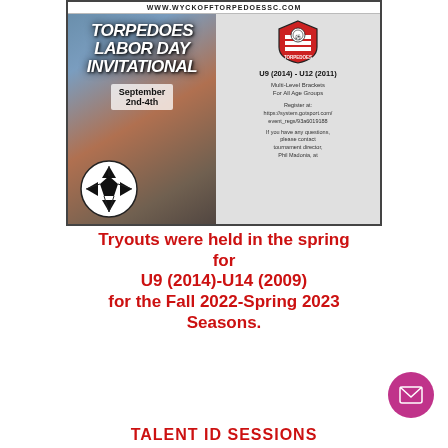[Figure (infographic): Torpedoes Labor Day Invitational flyer. Left side has italic bold text 'TORPEDOES LABOR DAY INVITATIONAL' with 'September 2nd-4th' on a soccer/sunset background image. Right side has Torpedoes shield logo, 'U9 (2014) - U12 (2011)', 'Multi-Level Brackets For All Age Groups', registration URL 'https://system.gotsport.com/event_regs/93a6019188', and contact info for Phil Madonia. Top bar shows 'WWW.WYCKOFFTORPEDOESSC.COM'.]
Tryouts were held in the spring for
U9 (2014)-U14 (2009)
for the Fall 2022-Spring 2023 Seasons.
TALENT ID SESSIONS